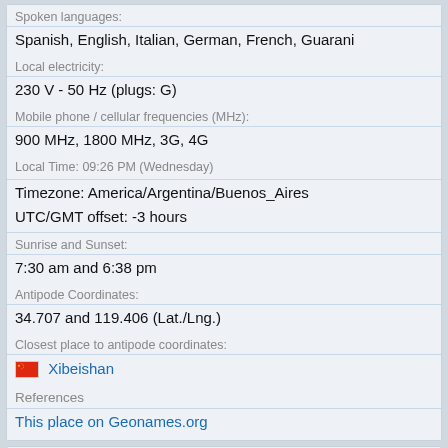Spoken languages:
Spanish, English, Italian, German, French, Guarani
Local electricity:
230 V - 50 Hz (plugs: G)
Mobile phone / cellular frequencies (MHz):
900 MHz, 1800 MHz, 3G, 4G
Local Time: 09:26 PM (Wednesday)
Timezone: America/Argentina/Buenos_Aires
UTC/GMT offset: -3 hours
Sunrise and Sunset:
7:30 am and 6:38 pm
Antipode Coordinates:
34.707 and 119.406 (Lat./Lng.)
Closest place to antipode coordinates:
Xibeishan
References
This place on Geonames.org